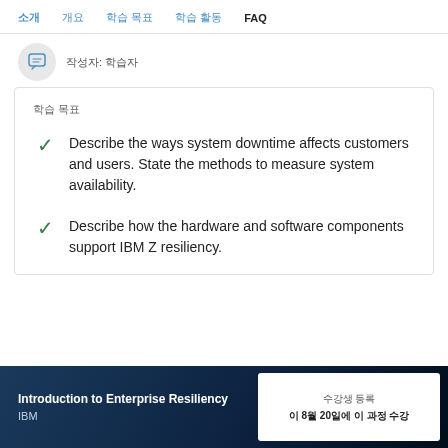소개  개요  학습 목표  학습 활동  FAQ
작성자: 학습자
학습 목표
Describe the ways system downtime affects customers and users. State the methods to measure system availability.
Describe how the hardware and software components support IBM Z resiliency.
Introduction to Enterprise Resiliency  IBM
수강생 등록  이 8월 20일에 이 과정 수강